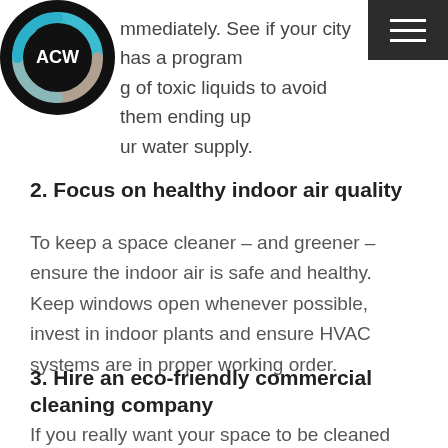[Figure (logo): ACW logo — circular black ring with teal and beige accent colors, white ACW text in center]
mmediately. See if your city has a program g of toxic liquids to avoid them ending up ur water supply.
2. Focus on healthy indoor air quality
To keep a space cleaner – and greener – ensure the indoor air is safe and healthy. Keep windows open whenever possible, invest in indoor plants and ensure HVAC systems are in proper working order.
3. Hire an eco-friendly commercial cleaning company
If you really want your space to be cleaned sustainably, employ a professional commercial